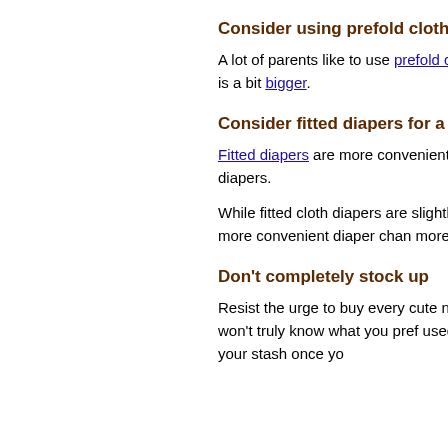Consider using prefold cloth diapers
A lot of parents like to use prefold cloth the least expensive cloth diapering opti your baby is a bit bigger.
Consider fitted diapers for a little mo
Fitted diapers are more convenient than add a diaper cover, there is no need to cloth diapers.
While fitted cloth diapers are slightly mo still on the lower end of the price range you want more convenient diaper chan more cost, fitted diapers may be a good
Don't completely stock up
Resist the urge to buy every cute newb your first experience with using cloth di and you won't truly know what you pref used a system for a while. Buy what yo laundry, then add to your stash once yo